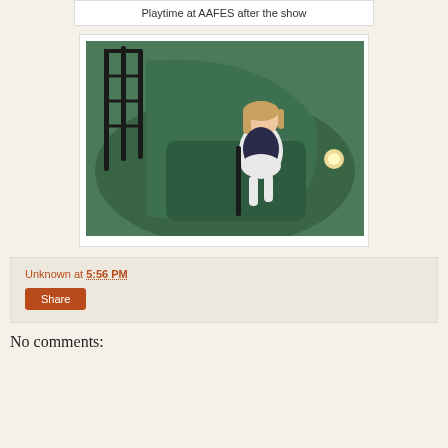Playtime at AAFES after the show
[Figure (photo): A young girl in a white and navy sailor outfit sitting inside a large green vintage ride-on car or play vehicle, with a metal roll cage visible on the left side]
Unknown at 5:56 PM
Share
No comments: